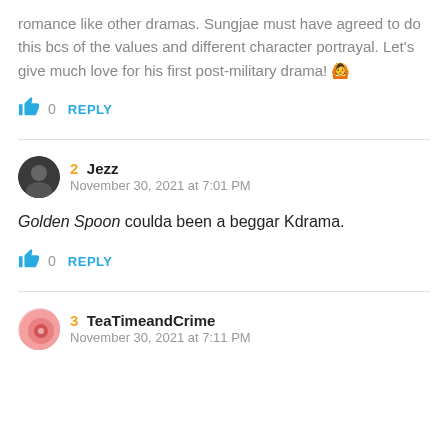romance like other dramas. Sungjae must have agreed to do this bcs of the values and different character portrayal. Let's give much love for his first post-military drama! 🙆
👍 0  REPLY
2  Jezz
November 30, 2021 at 7:01 PM
Golden Spoon coulda been a beggar Kdrama.
👍 0  REPLY
3  TeaTimeandCrime
November 30, 2021 at 7:11 PM